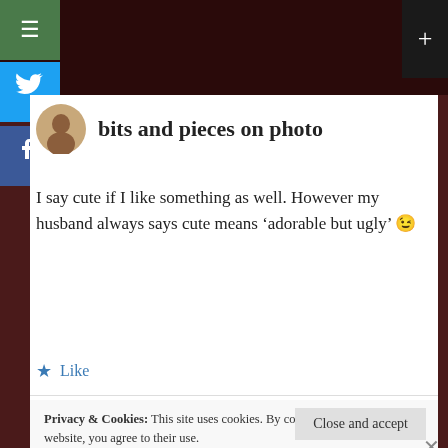[Figure (screenshot): Screenshot of a blog comment page with social share buttons (menu, Twitter, Facebook) on the left sidebar, a dark top bar, and a white content area showing a blog titled 'bits and pieces on photo'.]
bits and pieces on photo
I say cute if I like something as well. However my husband always says cute means ‘adorable but ugly’ 😉
★ Like
Privacy & Cookies: This site uses cookies. By continuing to use this website, you agree to their use.
To find out more, including how to control cookies, see here:
Cookie Policy
Close and accept